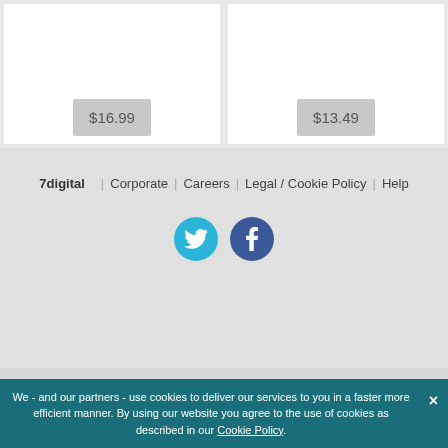$16.99
$13.49
7digital | Corporate | Careers | Legal / Cookie Policy | Help
[Figure (illustration): Twitter and Facebook social media icon circles]
Back to the top
We - and our partners - use cookies to deliver our services to you in a faster more efficient manner. By using our website you agree to the use of cookies as described in our Cookie Policy.